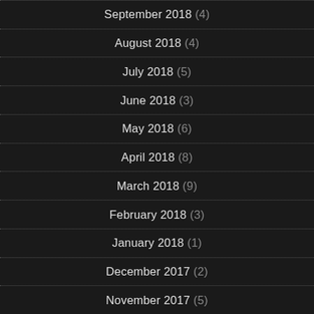September 2018 (4)
August 2018 (4)
July 2018 (5)
June 2018 (3)
May 2018 (6)
April 2018 (8)
March 2018 (9)
February 2018 (3)
January 2018 (1)
December 2017 (2)
November 2017 (5)